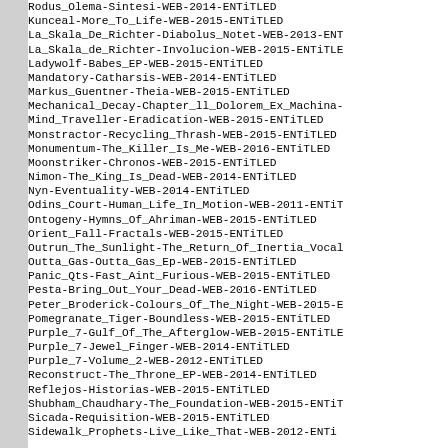Rodus_Olema-Sintesi-WEB-2014-ENTiTLED
Kunceal-More_To_Life-WEB-2015-ENTiTLED
La_Skala_De_Richter-Diabolus_Notet-WEB-2013-ENT...
La_Skala_de_Richter-Involucion-WEB-2015-ENTiTLE...
Ladywolf-Babes_EP-WEB-2015-ENTiTLED
Mandatory-Catharsis-WEB-2014-ENTiTLED
Markus_Guentner-Theia-WEB-2015-ENTiTLED
Mechanical_Decay-Chapter_ll_Dolorem_Ex_Machina-...
Mind_Traveller-Eradication-WEB-2015-ENTiTLED
Monstractor-Recycling_Thrash-WEB-2015-ENTiTLED
Monumentum-The_Killer_Is_Me-WEB-2016-ENTiTLED
Moonstriker-Chronos-WEB-2015-ENTiTLED
Nimon-The_King_Is_Dead-WEB-2014-ENTiTLED
Nyn-Eventuality-WEB-2014-ENTiTLED
Odins_Court-Human_Life_In_Motion-WEB-2011-ENTiT...
Ontogeny-Hymns_Of_Ahriman-WEB-2015-ENTiTLED
Orient_Fall-Fractals-WEB-2015-ENTiTLED
Outrun_The_Sunlight-The_Return_Of_Inertia_Vocal...
Outta_Gas-Outta_Gas_Ep-WEB-2015-ENTiTLED
Panic_Qts-Fast_Aint_Furious-WEB-2015-ENTiTLED
Pesta-Bring_Out_Your_Dead-WEB-2016-ENTiTLED
Peter_Broderick-Colours_Of_The_Night-WEB-2015-E...
Pomegranate_Tiger-Boundless-WEB-2015-ENTiTLED
Purple_7-Gulf_Of_The_Afterglow-WEB-2015-ENTiTLE...
Purple_7-Jewel_Finger-WEB-2014-ENTiTLED
Purple_7-Volume_2-WEB-2012-ENTiTLED
Reconstruct-The_Throne_EP-WEB-2014-ENTiTLED
Reflejos-Historias-WEB-2015-ENTiTLED
Shubham_Chaudhary-The_Foundation-WEB-2015-ENTiT...
Sicada-Requisition-WEB-2015-ENTiTLED
Sidewalk_Prophets-Live_Like_That-WEB-2012-ENTI...